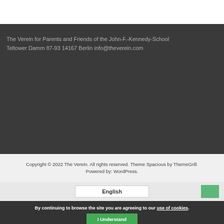The Verein for Parents and Friends of the John-F.-Kennedy-School Teltower Damm 87-93 14167 Berlin info@theverein.com
Copyright © 2022 The Verein. All rights reserved. Theme Spacious by ThemeGrill. Powered by: WordPress.
English
By continuing to browse the site you are agreeing to our use of cookies.
I Understand